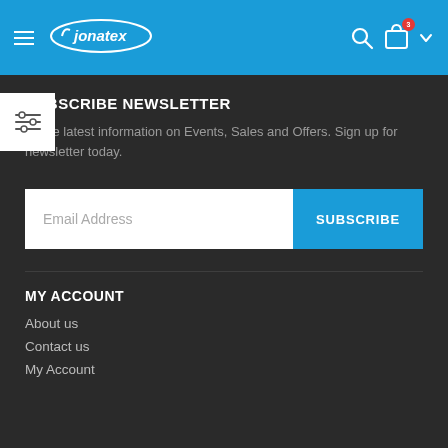[Figure (logo): Jonatex e-commerce website header with blue background, hamburger menu, Jonatex logo, search icon, shopping bag icon with red badge, and dropdown arrow]
SUBSCRIBE NEWSLETTER
all the latest information on Events, Sales and Offers. Sign up for newsletter today.
Email Address
SUBSCRIBE
MY ACCOUNT
About us
Contact us
My Account